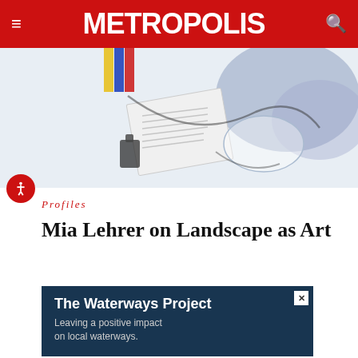METROPOLIS
[Figure (photo): Close-up aerial view of miscellaneous design or art objects on a white surface including what appears to be text-printed paper, clear plastic forms, tubing, and colorful elements in yellow, blue, and red.]
Profiles
Mia Lehrer on Landscape as Art
[Figure (other): Advertisement banner: The Waterways Project — Leaving a positive impact on local waterways.]